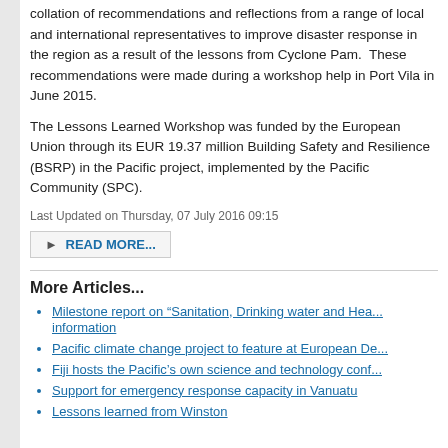collation of recommendations and reflections from a range of local and international representatives to improve disaster response in the region as a result of the lessons from Cyclone Pam. These recommendations were made during a workshop help in Port Vila in June 2015.
The Lessons Learned Workshop was funded by the European Union through its EUR 19.37 million Building Safety and Resilience (BSRP) in the Pacific project, implemented by the Pacific Community (SPC).
Last Updated on Thursday, 07 July 2016 09:15
READ MORE...
More Articles...
Milestone report on “Sanitation, Drinking water and Hea... information
Pacific climate change project to feature at European De...
Fiji hosts the Pacific’s own science and technology conf...
Support for emergency response capacity in Vanuatu
Lessons learned from Winston